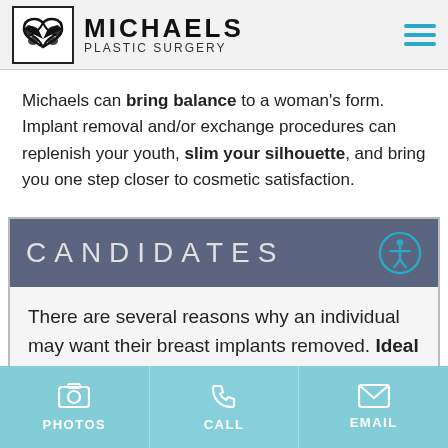MICHAELS PLASTIC SURGERY
Michaels can bring balance to a woman's form. Implant removal and/or exchange procedures can replenish your youth, slim your silhouette, and bring you one step closer to cosmetic satisfaction.
CANDIDATES
There are several reasons why an individual may want their breast implants removed. Ideal candidates for explant or implant replacement procedures are as varied as their
PHOTOS  CALL  EMAIL